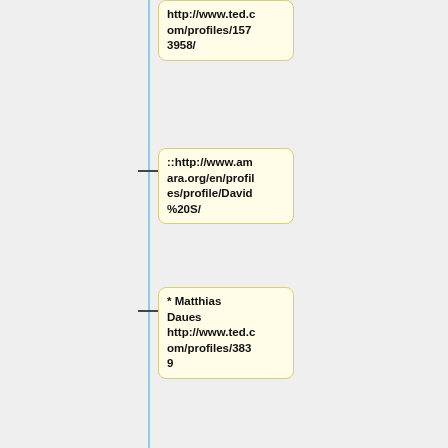http://www.ted.com/profiles/1573958/
::http://www.amara.org/en/profiles/profile/David%20S/
* Matthias Daues http://www.ted.com/profiles/3839
::http://www.amara.org/en/profiles/profile/matthiasdaues/
==Greek==
* Dimitr...